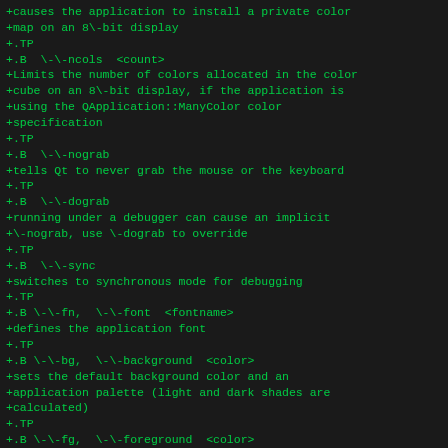+causes the application to install a private color
+map on an 8\-bit display
+.TP
+.B  \-\-ncols  <count>
+Limits the number of colors allocated in the color
+cube on an 8\-bit display, if the application is
+using the QApplication::ManyColor color
+specification
+.TP
+.B  \-\-nograb
+tells Qt to never grab the mouse or the keyboard
+.TP
+.B  \-\-dograb
+running under a debugger can cause an implicit
+\-nograb, use \-dograb to override
+.TP
+.B  \-\-sync
+switches to synchronous mode for debugging
+.TP
+.B \-\-fn,  \-\-font  <fontname>
+defines the application font
+.TP
+.B \-\-bg,  \-\-background  <color>
+sets the default background color and an
+application palette (light and dark shades are
+calculated)
+.TP
+.B \-\-fg,  \-\-foreground  <color>
+sets the default foreground color
+.TP
+.B\-\-btn \-\-button  <color>